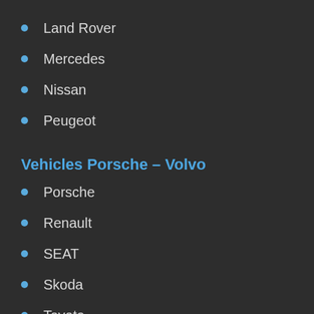Land Rover
Mercedes
Nissan
Peugeot
Vehicles Porsche – Volvo
Porsche
Renault
SEAT
Skoda
Toyota
Volkswagen
Volvo
Carblue merge with o2Diesel